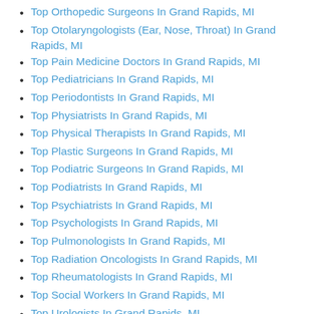Top Orthopedic Surgeons In Grand Rapids, MI
Top Otolaryngologists (Ear, Nose, Throat) In Grand Rapids, MI
Top Pain Medicine Doctors In Grand Rapids, MI
Top Pediatricians In Grand Rapids, MI
Top Periodontists In Grand Rapids, MI
Top Physiatrists In Grand Rapids, MI
Top Physical Therapists In Grand Rapids, MI
Top Plastic Surgeons In Grand Rapids, MI
Top Podiatric Surgeons In Grand Rapids, MI
Top Podiatrists In Grand Rapids, MI
Top Psychiatrists In Grand Rapids, MI
Top Psychologists In Grand Rapids, MI
Top Pulmonologists In Grand Rapids, MI
Top Radiation Oncologists In Grand Rapids, MI
Top Rheumatologists In Grand Rapids, MI
Top Social Workers In Grand Rapids, MI
Top Urologists In Grand Rapids, MI